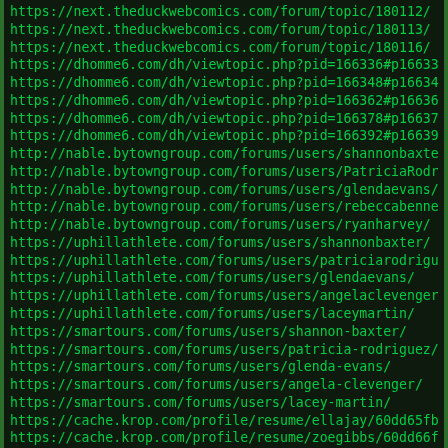https://next.theduckwebcomics.com/forum/topic/180112/
https://next.theduckwebcomics.com/forum/topic/180113/
https://next.theduckwebcomics.com/forum/topic/180116/
https://dhomme6.com/dh/viewtopic.php?pid=166336#p166336
https://dhomme6.com/dh/viewtopic.php?pid=166348#p166348
https://dhomme6.com/dh/viewtopic.php?pid=166362#p166362
https://dhomme6.com/dh/viewtopic.php?pid=166378#p166378
https://dhomme6.com/dh/viewtopic.php?pid=166392#p166392
http://nable.bytowngroup.com/forums/users/shannonbaxter/
http://nable.bytowngroup.com/forums/users/PatriciaRodriguez
http://nable.bytowngroup.com/forums/users/glendaevans/
http://nable.bytowngroup.com/forums/users/rebeccabennett/
http://nable.bytowngroup.com/forums/users/ryanharvey/
https://uphillathlete.com/forums/users/shannonbaxter/
https://uphillathlete.com/forums/users/patriciarodriguez/
https://uphillathlete.com/forums/users/glendaevans/
https://uphillathlete.com/forums/users/angelaclevenger/
https://uphillathlete.com/forums/users/laceymartin/
https://smartours.com/forums/users/shannon-baxter/
https://smartours.com/forums/users/patricia-rodriguez/
https://smartours.com/forums/users/glenda-evans/
https://smartours.com/forums/users/angela-clevenger/
https://smartours.com/forums/users/lacey-martin/
https://cache.krop.com/profile/resume/ellajay/60dd65fb.pdf
https://cache.krop.com/profile/resume/zoegibbs/60dd66f5.pdf
https://cache.krop.com/profile/resume/sallywebbs/60dd67d9.p
https://cache.krop.com/profile/resume/janetrey/60dd68db.pdf
https://cache.krop.com/profile/resume/staciecarr/60dd69a6.p
https://morsbags.com/forums/users/ella-jay/
https://morsbags.com/forums/users/zoe-gibbs/